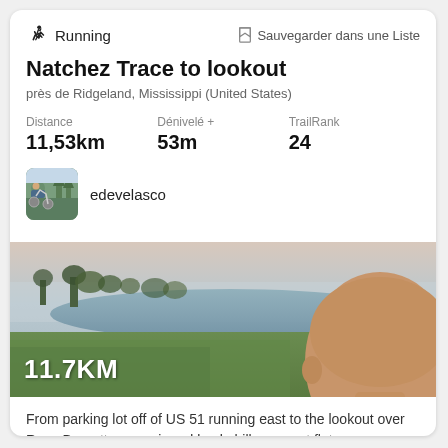Running
Sauvegarder dans une Liste
Natchez Trace to lookout
près de Ridgeland, Mississippi (United States)
Distance
11,53km
Dénivelé +
53m
TrailRank
24
edevelasco
[Figure (photo): Outdoor selfie photo showing a man with glasses in the foreground, a lake and green field in the background with trees and a misty sky. White text overlay reads 11.7KM in the bottom left.]
From parking lot off of US 51 running east to the lookout over Rose Barnett reservoir and back. hilly run, not flat